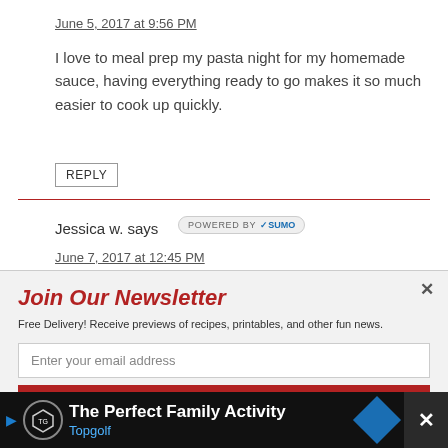June 5, 2017 at 9:56 PM
I love to meal prep my pasta night for my homemade sauce, having everything ready to go makes it so much easier to cook up quickly.
REPLY
Jessica w. says
[Figure (other): Powered by SUMO badge/widget]
Join Our Newsletter
Free Delivery! Receive previews of recipes, printables, and other fun news.
Enter your email address
The Perfect Family Activity Topgolf (advertisement banner)